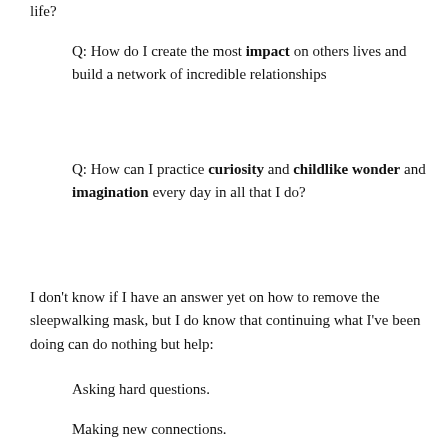life?
Q: How do I create the most impact on others lives and build a network of incredible relationships
Q: How can I practice curiosity and childlike wonder and imagination every day in all that I do?
I don't know if I have an answer yet on how to remove the sleepwalking mask, but I do know that continuing what I've been doing can do nothing but help:
Asking hard questions.
Making new connections.